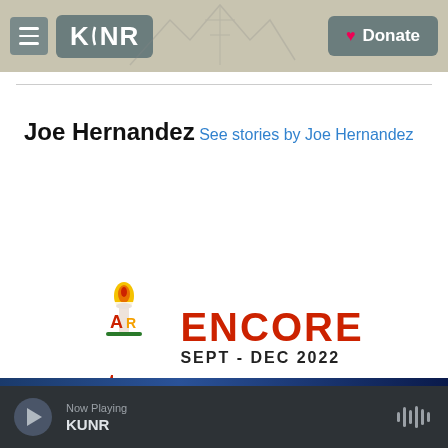KUNR | Donate
Joe Hernandez
See stories by Joe Hernandez
[Figure (logo): Artown Encore Sept - Dec 2022 advertisement banner with artown logo and ENCORE text in red]
Now Playing KUNR